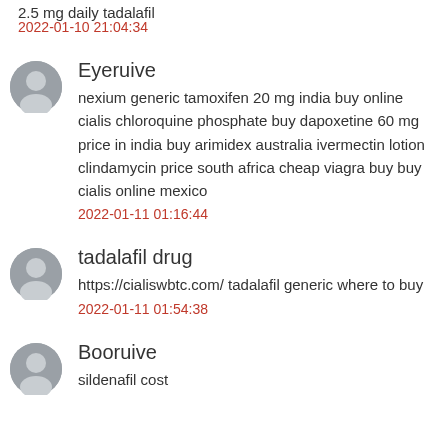2.5 mg daily tadalafil
2022-01-10 21:04:34
Eyeruive
nexium generic tamoxifen 20 mg india buy online cialis chloroquine phosphate buy dapoxetine 60 mg price in india buy arimidex australia ivermectin lotion clindamycin price south africa cheap viagra buy buy cialis online mexico
2022-01-11 01:16:44
tadalafil drug
https://cialiswbtc.com/ tadalafil generic where to buy
2022-01-11 01:54:38
Booruive
sildenafil cost